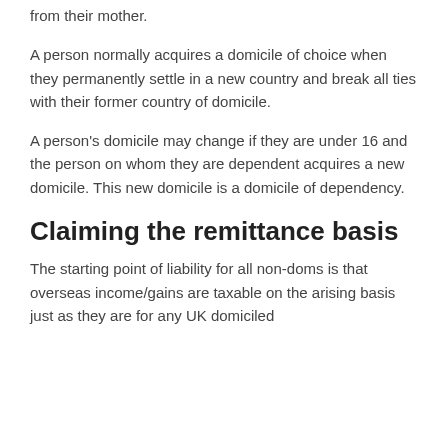from their mother.
A person normally acquires a domicile of choice when they permanently settle in a new country and break all ties with their former country of domicile.
A person's domicile may change if they are under 16 and the person on whom they are dependent acquires a new domicile. This new domicile is a domicile of dependency.
Claiming the remittance basis
The starting point of liability for all non-doms is that overseas income/gains are taxable on the arising basis just as they are for any UK domiciled